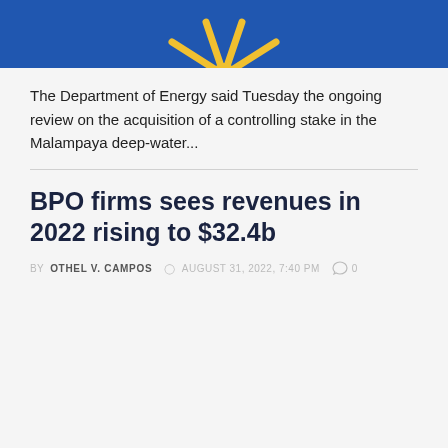[Figure (illustration): Partial Philippine government seal/emblem on blue background — sun rays and star shape visible in gold/yellow on royal blue]
The Department of Energy said Tuesday the ongoing review on the acquisition of a controlling stake in the Malampaya deep-water...
BPO firms sees revenues in 2022 rising to $32.4b
BY OTHEL V. CAMPOS  AUGUST 31, 2022, 7:40 PM  0